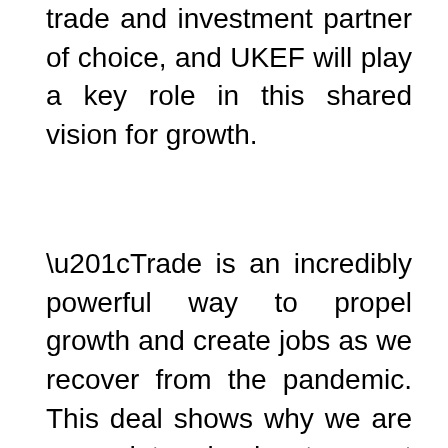trade and investment partner of choice, and UKEF will play a key role in this shared vision for growth.
“Trade is an incredibly powerful way to propel growth and create jobs as we recover from the pandemic. This deal shows why we are so determined to get businesses to grasp these opportunities and take advantage of the support available from Government.One third of our economy is exports. That’s why support